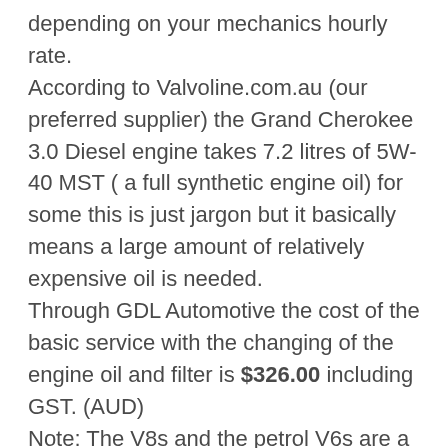depending on your mechanics hourly rate. According to Valvoline.com.au (our preferred supplier) the Grand Cherokee 3.0 Diesel engine takes 7.2 litres of 5W-40 MST ( a full synthetic engine oil) for some this is just jargon but it basically means a large amount of relatively expensive oil is needed. Through GDL Automotive the cost of the basic service with the changing of the engine oil and filter is $326.00 including GST. (AUD) Note: The V8s and the petrol V6s are a fraction cheeper as less oil is used. On the day of your service any advised